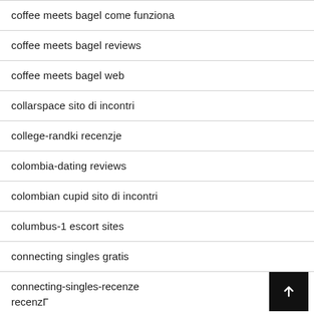coffee meets bagel come funziona
coffee meets bagel reviews
coffee meets bagel web
collarspace sito di incontri
college-randki recenzje
colombia-dating reviews
colombian cupid sito di incontri
columbus-1 escort sites
connecting singles gratis
connecting-singles-recenze recenzΓ